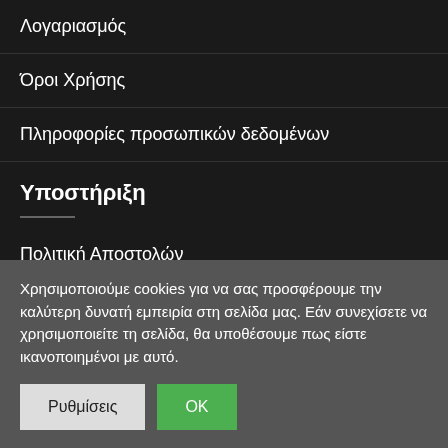Λογαριασμός
Όροι Χρήσης
Πληροφορίες προσωπικών δεδομένων
Υποστήριξη
Πολιτική Αποστολών
Πολιτική Επιστροφών – Ακυρώσεων
Χρησιμοποιούμε cookies για να σας προσφέρουμε την καλύτερη δυνατή εμπειρία στη σελίδα μας. Εάν συνεχίσετε να χρησιμοποιείτε τη σελίδα, θα υποθέσουμε πως είστε ικανοποιημένοι με αυτό.
Ρυθμίσεις | OK